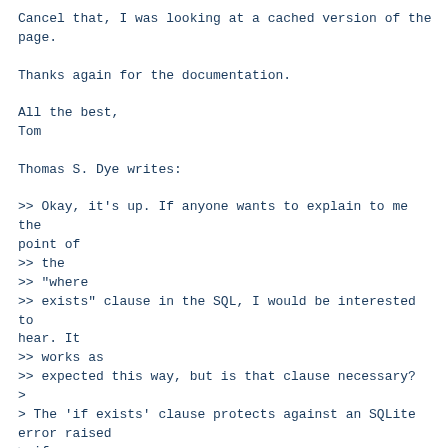Cancel that, I was looking at a cached version of the page.

Thanks again for the documentation.

All the best,
Tom

Thomas S. Dye writes:

>> Okay, it's up. If anyone wants to explain to me the point of
>> the
>> "where
>> exists" clause in the SQL, I would be interested to hear. It
>> works as
>> expected this way, but is that clause necessary?
>
> The 'if exists' clause protects against an SQLite error raised
> if
> you ask to delete a table that doesn't exist.  The code will
> work
> without it if the table exists, but will exit without creating
> the
> table if not.